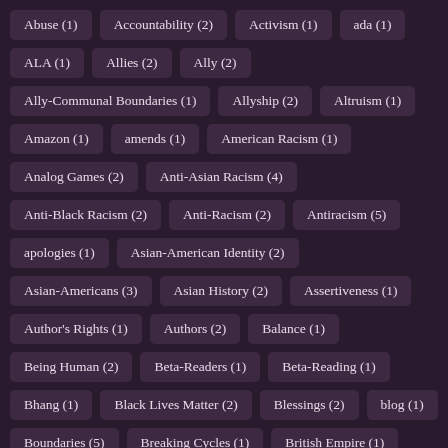Abuse (1)
Accountability (2)
Activism (1)
ada (1)
ALA (1)
Allies (2)
Ally (2)
Ally-Communal Boundaries (1)
Allyship (2)
Altruism (1)
Amazon (1)
amends (1)
American Racism (1)
Analog Games (2)
Anti-Asian Racism (4)
Anti-Black Racism (2)
Anti-Racism (2)
Antiracism (5)
apologies (1)
Asian-American Identity (2)
Asian-Americans (3)
Asian History (2)
Assertiveness (1)
Author's Rights (1)
Authors (2)
Balance (1)
Being Human (2)
Beta-Readers (1)
Beta-Reading (1)
Bhang (1)
Black Lives Matter (2)
Blessings (2)
blog (1)
Boundaries (5)
Breaking Cycles (1)
British Empire (1)
British Isles (1)
British Raj (1)
Bystander Effect (2)